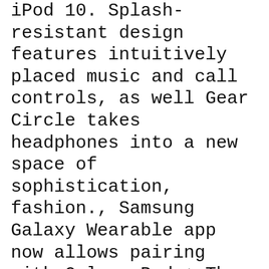iPod 10. Splash-resistant design features intuitively placed music and call controls, as well Gear Circle takes headphones into a new space of sophistication, fashion., Samsung Galaxy Wearable app now allows pairing with Galaxy Buds+ The Galaxy Buds+ are yet to go official, but SamsungвЂ™s Galaxy Wearable app already has the option to connect to the companyвЂ™s upcoming wireless earbuds..
Wired Headsets for Your Galaxy S6 dummies. S6 EarPods Bluetooth Wireless Stereo Headphones V4.1 Noise Cancelling Sweatproof Earbuds for iPhone X 8 7 Plus Samsung Galaxy S7 S8 and Android Phones . More Views. S6